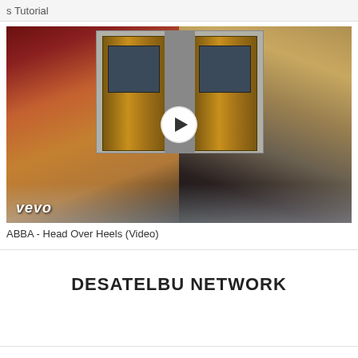s Tutorial
[Figure (screenshot): Video thumbnail from Vevo showing ABBA - Head Over Heels, featuring two women: one with red hair and gold outfit on the left, one with blonde hair and dark outfit on the right, with a building/door in the background. A circular play button is overlaid in the center. The Vevo logo appears in the bottom-left.]
ABBA - Head Over Heels (Video)
DESATELBU NETWORK